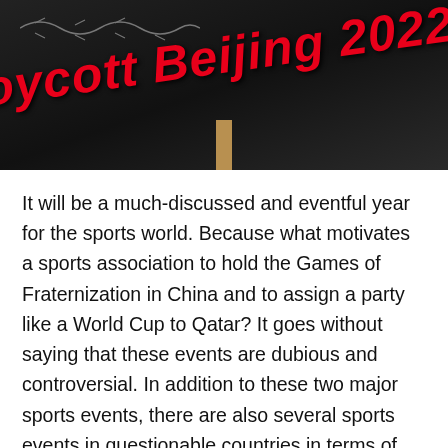[Figure (photo): Photo of a protest sign reading 'Boycott Beijing 2022' in bold red italic text on a dark background, with barbed wire visible at the top and a wooden stick handle at the bottom.]
It will be a much-discussed and eventful year for the sports world. Because what motivates a sports association to hold the Games of Fraternization in China and to assign a party like a World Cup to Qatar? It goes without saying that these events are dubious and controversial. In addition to these two major sports events, there are also several sports events in questionable countries in terms of human rights this year. And yes, this does not always go smoothly here and in several other countries, but in the vast majority of them you can at least say and write that down.
2022 is already being called the year of sports washing.